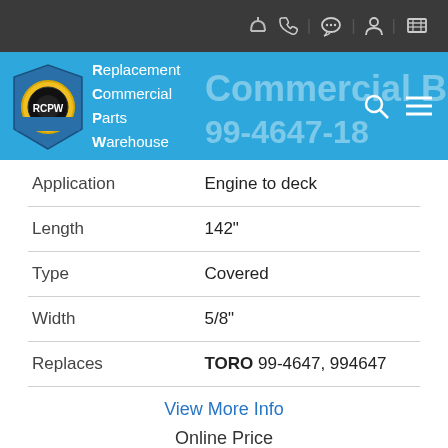RCPW - Replacement Commercial Parts Warehouse
| Attribute | Value |
| --- | --- |
| Application | Engine to deck |
| Length | 142" |
| Type | Covered |
| Width | 5/8" |
| Replaces | TORO 99-4647, 994647 |
View More Info
Online Price
$47.78
1